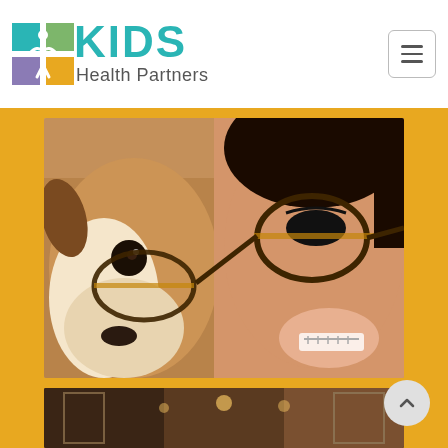[Figure (logo): KIDS Health Partners logo — colorful icon of figures with teal KIDS text and grey Health Partners text]
[Figure (photo): Selfie photo of a young person wearing tortoiseshell glasses cheek-to-cheek with a small dog also wearing matching tortoiseshell glasses, on a yellow background]
[Figure (photo): Interior photo of a warmly lit room or lobby with wooden elements and chandeliers, partially visible]